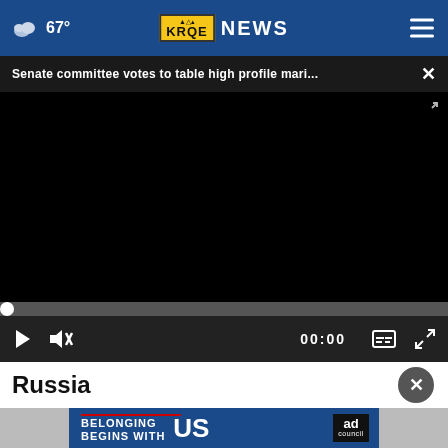67° KRQE NEWS
Senate committee votes to table high profile mari... ×
[Figure (screenshot): Black video player area, currently showing no content]
▶ 🔇 00:00
Russia
[Figure (infographic): Ad banner: BELONGING BEGINS WITH US — Ad Council]